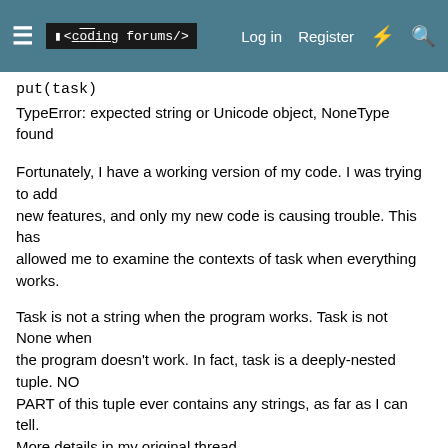≡  <coding forums/>  Log in  Register  ⚡  🔍
put(task)
TypeError: expected string or Unicode object, NoneType found
Fortunately, I have a working version of my code. I was trying to add
new features, and only my new code is causing trouble. This has
allowed me to examine the contexts of task when everything works.
Task is not a string when the program works. Task is not None when
the program doesn't work. In fact, task is a deeply-nested tuple. NO
PART of this tuple ever contains any strings, as far as I can tell.
More details in my original thread.
Now, of course I've seen that the standard traceback shows